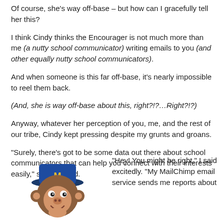Of course, she's way off-base – but how can I gracefully tell her this?
I think Cindy thinks the Encourager is not much more than me (a nutty school communicator) writing emails to you (and other equally nutty school communicators).
And when someone is this far off-base, it's nearly impossible to reel them back.
(And, she is way off-base about this, right?!?…Right?!?)
Anyway, whatever her perception of you, me, and the rest of our tribe, Cindy kept pressing despite my grunts and groans.
“Surely, there’s got to be some data out there about school communicators that can help you connect with their interests easily,” she prodded.
[Figure (illustration): MailChimp mascot monkey wearing a blue hat with M on it]
“Hey! You might be right,” I said excitedly. “My MailChimp email service sends me reports about